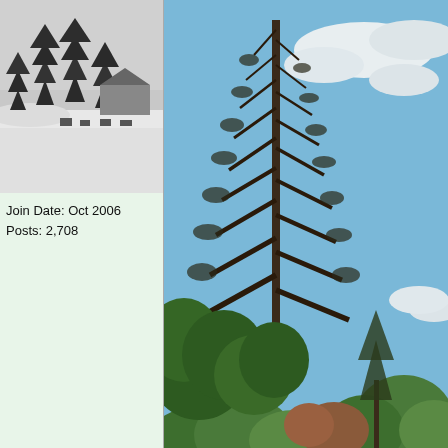[Figure (photo): Black and white winter scene with snow-covered ground, evergreen trees, and a house in the background. Used as a forum user avatar.]
Join Date: Oct 2006
Posts: 2,708
[Figure (photo): Color photograph of tall evergreen trees against a partly cloudy blue sky. A large conifer tree dominates the center, surrounded by green and reddish foliage at lower elevations.]